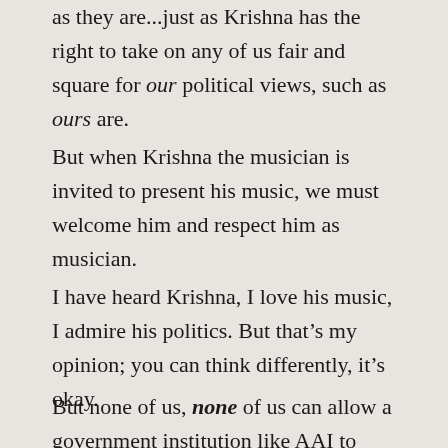as they are...just as Krishna has the right to take on any of us fair and square for our political views, such as ours are.
But when Krishna the musician is invited to present his music, we must welcome him and respect him as musician.
I have heard Krishna, I love his music, I admire his politics. But that’s my opinion; you can think differently, it’s okay.
But none of us, none of us can allow a government institution like AAI to judge  an artiste, any artiste,